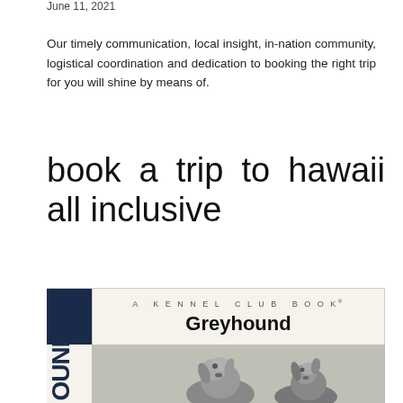June 11, 2021
Our timely communication, local insight, in-nation community, logistical coordination and dedication to booking the right trip for you will shine by means of.
book a trip to hawaii all inclusive
[Figure (photo): Book cover image for 'Greyhound – A Kennel Club Book', showing the book title and spine with 'OUND' text vertically, and two greyhound dogs photographed in black and white at the bottom portion.]